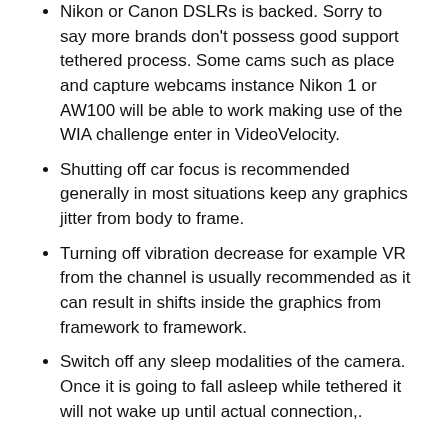Nikon or Canon DSLRs is backed. Sorry to say more brands don't possess good support tethered process. Some cams such as place and capture webcams instance Nikon 1 or AW100 will be able to work making use of the WIA challenge enter in VideoVelocity.
Shutting off car focus is recommended generally in most situations keep any graphics jitter from body to frame.
Turning off vibration decrease for example VR from the channel is usually recommended as it can result in shifts inside the graphics from framework to framework.
Switch off any sleep modalities of the camera. Once it is going to fall asleep while tethered it will not wake up until actual connection,.
The pc
Here is the essential element that will equip your DSLR to tape and transmitted video. The main factor facet here is dependability and much more trustworthiness. You wouldn't like your very own this for restarting or failing you, in need of bodily accessibility the box to obtain it going once more. Extremely just use found steady hardware who may have no